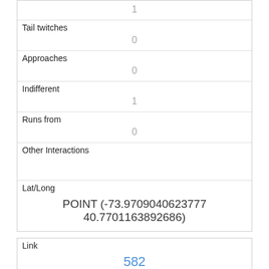| 1 |
| Tail twitches | 0 |
| Approaches | 0 |
| Indifferent | 1 |
| Runs from | 0 |
| Other Interactions |  |
| Lat/Long | POINT (-73.9709040623777 40.7701163892686) |
| Link | 582 |
| rowid | 582 |
| longitude | -73.96777794084644 |
| latitude |  |